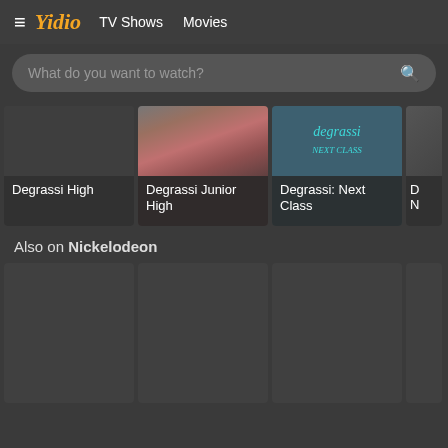Yidio  TV Shows  Movies
What do you want to watch?
[Figure (screenshot): Degrassi High TV show card with dark background]
Degrassi High
[Figure (screenshot): Degrassi Junior High TV show card with person photo]
Degrassi Junior High
[Figure (screenshot): Degrassi: Next Class TV show card with teal logo]
Degrassi: Next Class
Also on Nickelodeon
[Figure (screenshot): Nickelodeon show card 1 (blank/loading)]
[Figure (screenshot): Nickelodeon show card 2 (blank/loading)]
[Figure (screenshot): Nickelodeon show card 3 (blank/loading)]